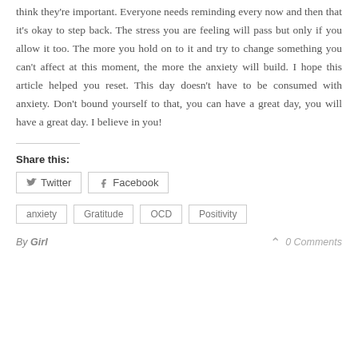think they're important. Everyone needs reminding every now and then that it's okay to step back. The stress you are feeling will pass but only if you allow it too. The more you hold on to it and try to change something you can't affect at this moment, the more the anxiety will build. I hope this article helped you reset. This day doesn't have to be consumed with anxiety. Don't bound yourself to that, you can have a great day, you will have a great day. I believe in you!
Share this:
Twitter
Facebook
anxiety
Gratitude
OCD
Positivity
By Girl   0 Comments